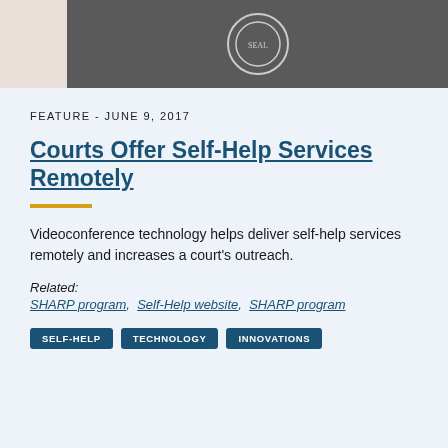[Figure (photo): Photograph showing a room with a government seal/emblem visible, court or government setting with equipment visible]
FEATURE - JUNE 9, 2017
Courts Offer Self-Help Services Remotely
Videoconference technology helps deliver self-help services remotely and increases a court's outreach.
Related:
SHARP program, Self-Help website, SHARP program
SELF-HELP
TECHNOLOGY
INNOVATIONS